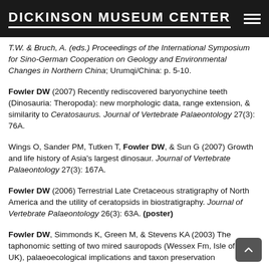DICKINSON MUSEUM CENTER
T.W. & Bruch, A. (eds.) Proceedings of the International Symposium for Sino-German Cooperation on Geology and Environmental Changes in Northern China; Urumqi/China: p. 5-10.
Fowler DW (2007) Recently rediscovered baryonychine teeth (Dinosauria: Theropoda): new morphologic data, range extension, & similarity to Ceratosaurus. Journal of Vertebrate Palaeontology 27(3): 76A.
Wings O, Sander PM, Tutken T, Fowler DW, & Sun G (2007) Growth and life history of Asia's largest dinosaur. Journal of Vertebrate Palaeontology 27(3): 167A.
Fowler DW (2006) Terrestrial Late Cretaceous stratigraphy of North America and the utility of ceratopsids in biostratigraphy. Journal of Vertebrate Palaeontology 26(3): 63A. (poster)
Fowler DW, Simmonds K, Green M, & Stevens KA (2003) The taphonomic setting of two mired sauropods (Wessex Fm, Isle of Wight, UK), palaeoecological implications and taxon preservation